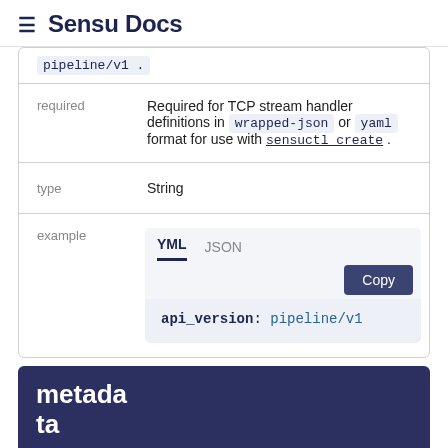≡ Sensu Docs
| (top row) | pipeline/v1 (code) |
| required | Required for TCP stream handler definitions in wrapped-json or yaml format for use with sensuctl create . |
| type | String |
| example | YML / JSON tabs — api_version: pipeline/v1 |
metadata